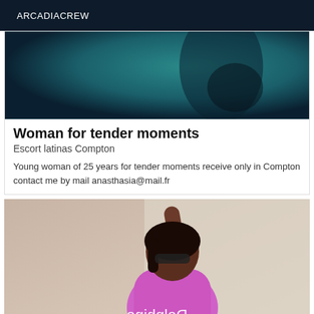ARCADIACREW
[Figure (photo): Dark teal/blue-green blurred background photo at top of listing card]
Woman for tender moments
Escort latinas Compton
Young woman of 25 years for tender moments receive only in Compton contact me by mail anasthasia@mail.fr
[Figure (photo): Photo of a woman wearing sunglasses and a pink/purple outfit with mirrored text 'Delphine' overlaid]